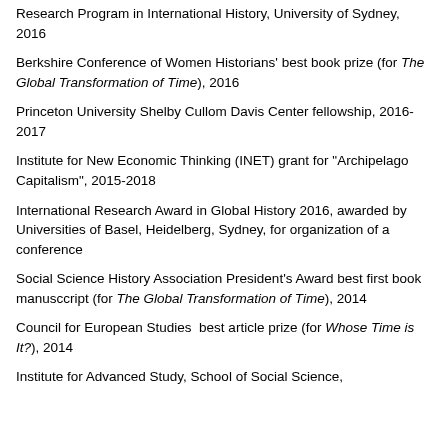Research Program in International History, University of Sydney, 2016
Berkshire Conference of Women Historians' best book prize (for The Global Transformation of Time), 2016
Princeton University Shelby Cullom Davis Center fellowship, 2016-2017
Institute for New Economic Thinking (INET) grant for "Archipelago Capitalism", 2015-2018
International Research Award in Global History 2016, awarded by Universities of Basel, Heidelberg, Sydney, for organization of a conference
Social Science History Association President's Award best first book manusccript (for The Global Transformation of Time), 2014
Council for European Studies  best article prize (for Whose Time is It?), 2014
Institute for Advanced Study, School of Social Science,